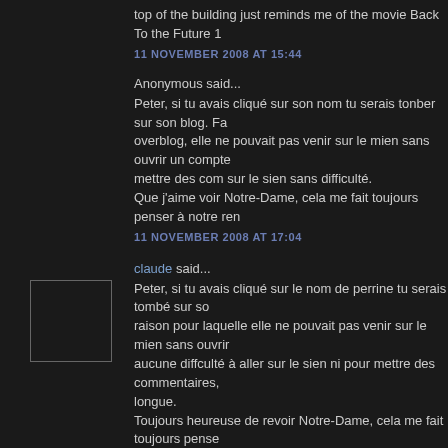top of the building just reminds me of the movie Back To the Future 1
11 NOVEMBER 2008 AT 15:44
Anonymous said...
Peter, si tu avais cliqué sur son nom tu serais tonber sur son blog. Fa overblog, elle ne pouvait pas venir sur le mien sans ouvrir un compte mettre des com sur le sien sans difficulté.
Que j'aime voir Notre-Dame, cela me fait toujours penser à notre ren
11 NOVEMBER 2008 AT 17:04
claude said...
Peter, si tu avais cliqué sur le nom de perrine tu serais tombé sur so raison pour laquelle elle ne pouvait pas venir sur le mien sans ouvrir aucune diffculté à aller sur le sien ni pour mettre des commentaires, longue.
Toujours heureuse de revoir Notre-Dame, cela me fait toujours pense Lyliane.
11 NOVEMBER 2008 AT 17:09
Cazar and Léia said...